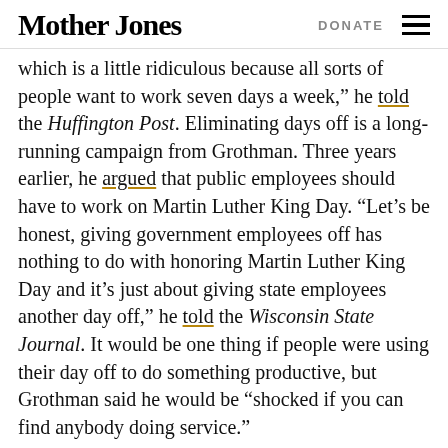Mother Jones  DONATE
which is a little ridiculous because all sorts of people want to work seven days a week,” he told the Huffington Post. Eliminating days off is a long-running campaign from Grothman. Three years earlier, he argued that public employees should have to work on Martin Luther King Day. “Let’s be honest, giving government employees off has nothing to do with honoring Martin Luther King Day and it’s just about giving state employees another day off,” he told the Wisconsin State Journal. It would be one thing if people were using their day off to do something productive, but Grothman said he would be “shocked if you can find anybody doing service.”